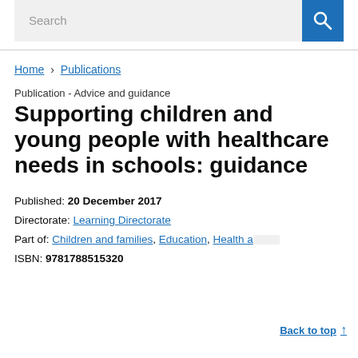Search
Home › Publications
Publication - Advice and guidance
Supporting children and young people with healthcare needs in schools: guidance
Published: 20 December 2017
Directorate: Learning Directorate
Part of: Children and families, Education, Health a...
ISBN: 9781788515320
Back to top ↑